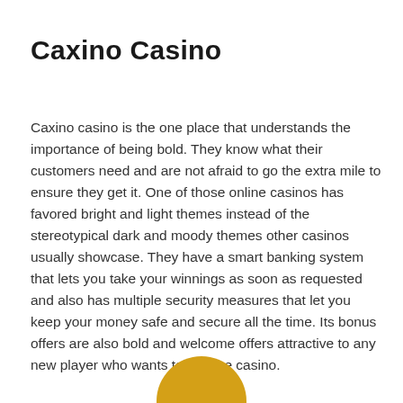Caxino Casino
Caxino casino is the one place that understands the importance of being bold. They know what their customers need and are not afraid to go the extra mile to ensure they get it. One of those online casinos has favored bright and light themes instead of the stereotypical dark and moody themes other casinos usually showcase. They have a smart banking system that lets you take your winnings as soon as requested and also has multiple security measures that let you keep your money safe and secure all the time. Its bonus offers are also bold and welcome offers attractive to any new player who wants to join the casino.
[Figure (illustration): Partial yellow/gold circle decorative element at the bottom center of the page]